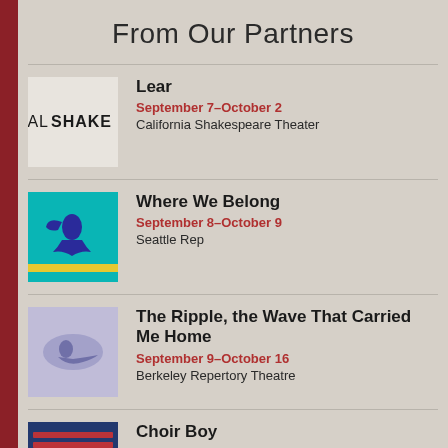From Our Partners
Lear | September 7–October 2 | California Shakespeare Theater
Where We Belong | September 8–October 9 | Seattle Rep
The Ripple, the Wave That Carried Me Home | September 9–October 16 | Berkeley Repertory Theatre
Choir Boy